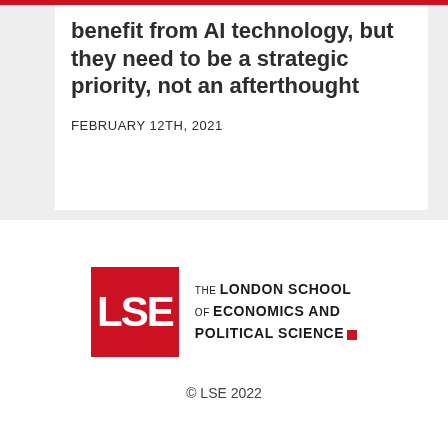benefit from AI technology, but they need to be a strategic priority, not an afterthought
FEBRUARY 12TH, 2021
[Figure (logo): LSE logo: red square with white 'LSE' letters beside text reading 'THE LONDON SCHOOL OF ECONOMICS AND POLITICAL SCIENCE' with a small red square]
© LSE 2022